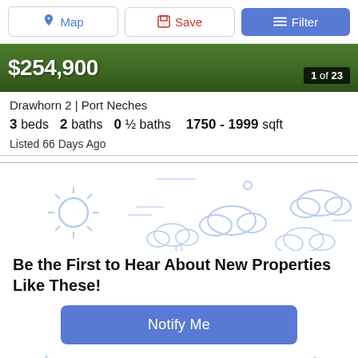[Figure (screenshot): Toolbar with Map, Save, and Filter buttons]
[Figure (photo): Green grass/lawn background with property price $254,900 and badge showing 1 of 23]
Drawhorn 2 | Port Neches
3 beds   2 baths   0 ½ baths   1750 - 1999 sqft
Listed 66 Days Ago
[Figure (illustration): Light blue illustrated weather icons (sun, clouds) and house outlines for notification prompt]
Be the First to Hear About New Properties Like These!
Notify Me
[Figure (illustration): Light blue illustrated house outlines at the bottom of the page]